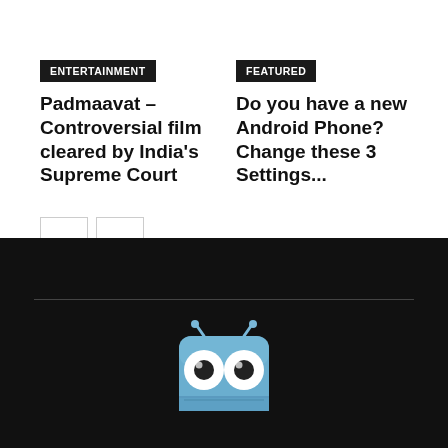ENTERTAINMENT
Padmaavat – Controversial film cleared by India's Supreme Court
FEATURED
Do you have a new Android Phone? Change these 3 Settings...
[Figure (illustration): Robot mascot icon — a blue cartoon robot face with large white circular eyes and black pupils, antenna on top, square head shape, on a black background]